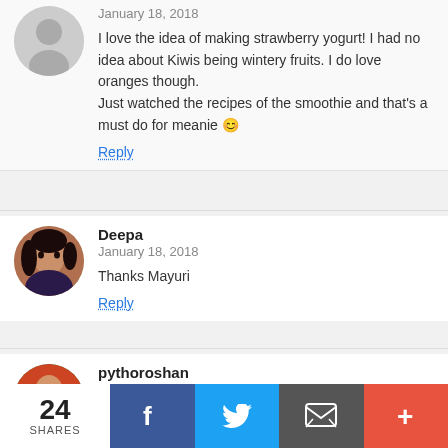January 18, 2018
I love the idea of making strawberry yogurt! I had no idea about Kiwis being wintery fruits. I do love oranges though.
Just watched the recipes of the smoothie and that’s a must do for meanie 😊
Reply
[Figure (photo): Round avatar photo of Deepa]
Deepa
January 18, 2018
Thanks Mayuri
Reply
[Figure (photo): Round avatar photo of pythoroshan]
pythoroshan
January 18, 2018
Definitely a post that needs a wider audience… Sharing 😊
Reply
24 SHARES